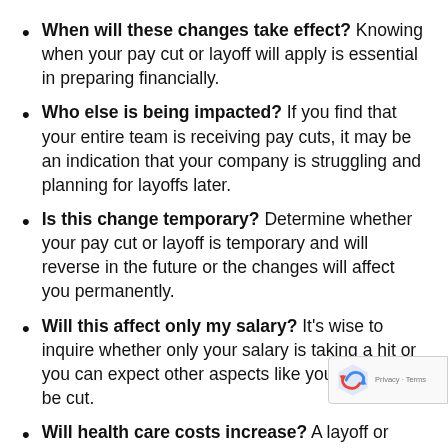When will these changes take effect? Knowing when your pay cut or layoff will apply is essential in preparing financially.
Who else is being impacted? If you find that your entire team is receiving pay cuts, it may be an indication that your company is struggling and planning for layoffs later.
Is this change temporary? Determine whether your pay cut or layoff is temporary and will reverse in the future or the changes will affect you permanently.
Will this affect only my salary? It's wise to inquire whether only your salary is taking a hit or you can expect other aspects like your benefits to be cut.
Will health care costs increase? A layoff or reduction may also impact your health care coverage...